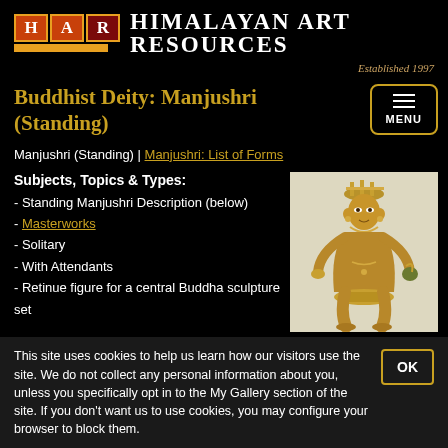HAR Himalayan Art Resources | Established 1997
Buddhist Deity: Manjushri (Standing)
Manjushri (Standing) | Manjushri: List of Forms
Subjects, Topics & Types:
- Standing Manjushri Description (below)
- Masterworks
- Solitary
- With Attendants
- Retinue figure for a central Buddha sculpture set
[Figure (photo): Gold/gilt bronze standing Manjushri sculpture with crown and ornaments]
This site uses cookies to help us learn how our visitors use the site. We do not collect any personal information about you, unless you specifically opt in to the My Gallery section of the site. If you don't want us to use cookies, you may configure your browser to block them.